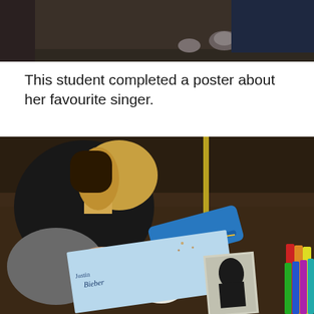[Figure (photo): Top portion of a photo showing a student sitting on a dark floor/carpet, partially cropped at the top of the page. A pink top is visible in the background.]
This student completed a poster about her favourite singer.
[Figure (photo): A student with blonde highlighted hair wearing a black top, sitting on a dark carpeted floor working on a light blue poster about her favourite singer. A blue pencil case, a portrait photo glued to the poster, colored markers/crayons, and a chair leg are visible.]